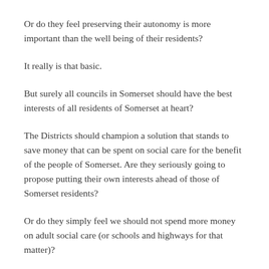Or do they feel preserving their autonomy is more important than the well being of their residents?
It really is that basic.
But surely all councils in Somerset should have the best interests of all residents of Somerset at heart?
The Districts should champion a solution that stands to save money that can be spent on social care for the benefit of the people of Somerset. Are they seriously going to propose putting their own interests ahead of those of Somerset residents?
Or do they simply feel we should not spend more money on adult social care (or schools and highways for that matter)?
The District Councils now have to decide if they are part of the